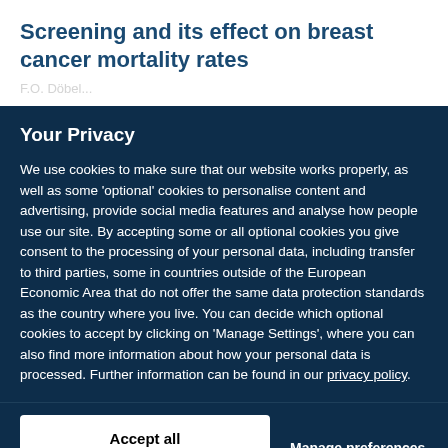Screening and its effect on breast cancer mortality rates
Your Privacy
We use cookies to make sure that our website works properly, as well as some 'optional' cookies to personalise content and advertising, provide social media features and analyse how people use our site. By accepting some or all optional cookies you give consent to the processing of your personal data, including transfer to third parties, some in countries outside of the European Economic Area that do not offer the same data protection standards as the country where you live. You can decide which optional cookies to accept by clicking on 'Manage Settings', where you can also find more information about how your personal data is processed. Further information can be found in our privacy policy.
Accept all cookies
Manage preferences